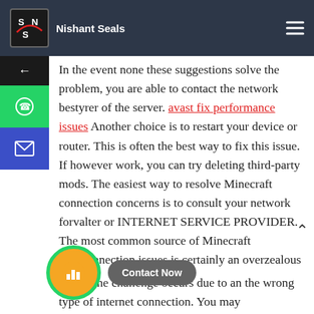Nishant Seals
In the event none these suggestions solve the problem, you are able to contact the network bestyrer of the server. avast fix performance issues Another choice is to restart your device or router. This is often the best way to fix this issue. If however work, you can try deleting third-party mods. The easiest way to resolve Minecraft connection concerns is to consult your network forvalter or INTERNET SERVICE PROVIDER. The most common source of Minecraft interconnection issues is certainly an overzealous firewall, nevertheless ther are other solutions available.
Usually, the challenge occurs due to an the wrong type of internet connection. You may